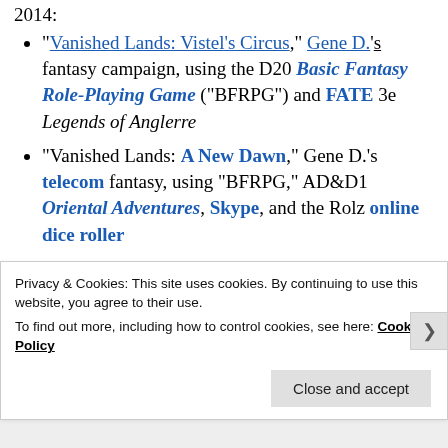2014:
"Vanished Lands: Vistel's Circus," Gene D.'s fantasy campaign, using the D20 Basic Fantasy Role-Playing Game ("BFRPG") and FATE 3e Legends of Anglerre
"Vanished Lands: A New Dawn," Gene D.'s telecom fantasy, using "BFRPG," AD&D1 Oriental Adventures, Skype, and the Rolz online dice roller
"Glassworks: the Devil's Den," Jason E.R.'s superhero scenario, using Icons
Privacy & Cookies: This site uses cookies. By continuing to use this website, you agree to their use.
To find out more, including how to control cookies, see here: Cookie Policy